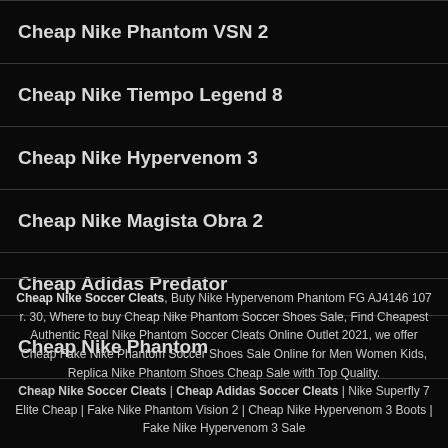Cheap Nike Phantom VSN 2
Cheap Nike Tiempo Legend 8
Cheap Nike Hypervenom 3
Cheap Nike Magista Obra 2
Cheap Adidas Predator
Cheap Nike Phantom
Cheap Nike Soccer Cleats, Buty Nike Hypervenom Phantom FG AJ4146 107 r. 30, Where to buy Cheap Nike Phantom Soccer Shoes Sale, Find Cheapest Authentic Real Nike Phantom Soccer Cleats Online Outlet 2021, we offer Cheap Fake Nike Phantom Soccer Shoes Sale Online for Men Women Kids, Replica Nike Phantom Shoes Cheap Sale with Top Quality. Cheap Nike Soccer Cleats | Cheap Adidas Soccer Cleats | Nike Superfly 7 Elite Cheap | Fake Nike Phantom Vision 2 | Cheap Nike Hypervenom 3 Boots | Fake Nike Hypervenom 3 Sale